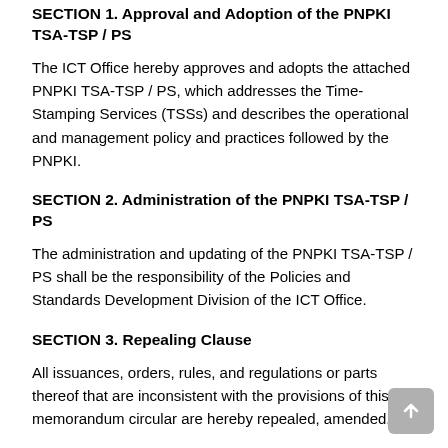SECTION 1. Approval and Adoption of the PNPKI TSA-TSP / PS
The ICT Office hereby approves and adopts the attached PNPKI TSA-TSP / PS, which addresses the Time-Stamping Services (TSSs) and describes the operational and management policy and practices followed by the PNPKI.
SECTION 2. Administration of the PNPKI TSA-TSP / PS
The administration and updating of the PNPKI TSA-TSP / PS shall be the responsibility of the Policies and Standards Development Division of the ICT Office.
SECTION 3. Repealing Clause
All issuances, orders, rules, and regulations or parts thereof that are inconsistent with the provisions of this memorandum circular are hereby repealed, amended, or